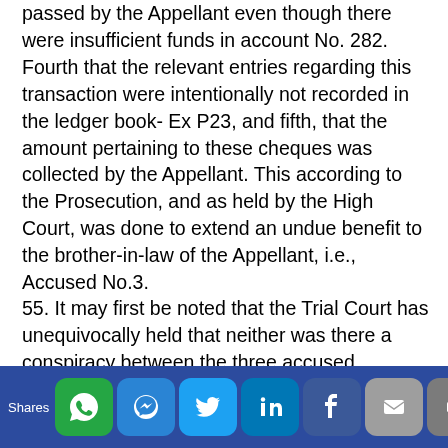passed by the Appellant even though there were insufficient funds in account No. 282. Fourth that the relevant entries regarding this transaction were intentionally not recorded in the ledger book- Ex P23, and fifth, that the amount pertaining to these cheques was collected by the Appellant. This according to the Prosecution, and as held by the High Court, was done to extend an undue benefit to the brother-in-law of the Appellant, i.e., Accused No.3.
55. It may first be noted that the Trial Court has unequivocally held that neither was there a conspiracy between the three accused persons, nor did the withdrawal result in any direct or indirect advantage to Accused No.3. In fact, the learned Special Judge went to the extent of holding that Accused No.3 merely acted in the normal course of
[Figure (other): Social media share bar with icons for WhatsApp, Messenger, Twitter, LinkedIn, Facebook, Email, and More. Label 'Shares' on the left.]